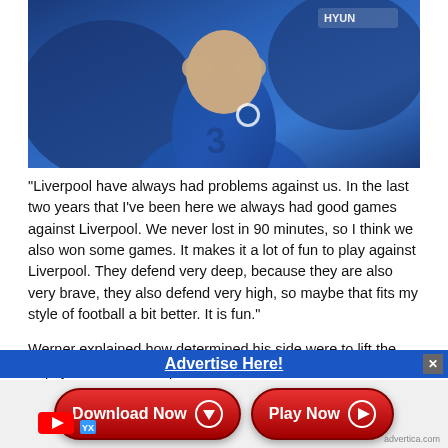[Figure (photo): Chelsea footballer in blue Chelsea kit with Hyundai sponsor, hands raised to face in a contemplative or frustrated pose]
“Liverpool have always had problems against us. In the last two years that I’ve been here we always had good games against Liverpool. We never lost in 90 minutes, so I think we also won some games. It makes it a lot of fun to play against Liverpool. They defend very deep, because they are also very brave, they also defend very high, so maybe that fits my style of football a bit better. It is fun.”
Werner explained how determined his side were to lift the trophy and was full of praise for the Reds ahead of the clash. He said: “To win the FA Cup at the end of the season gives the season this touch. It is one of the biggest cups in Europe. The oldest cup in England. We want to win this cup. We are all happy that we have also a very good
Advertise Here!
Download Now
Play Now
advertica.com